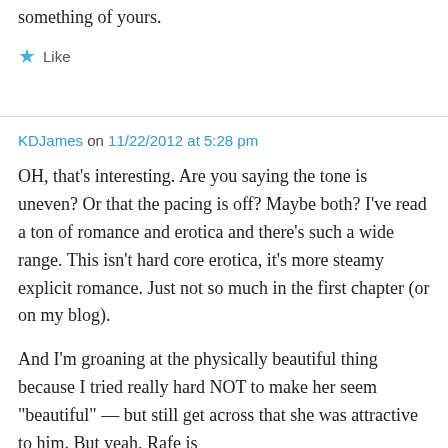something of yours.
★ Like
KDJames on 11/22/2012 at 5:28 pm
OH, that's interesting. Are you saying the tone is uneven? Or that the pacing is off? Maybe both? I've read a ton of romance and erotica and there's such a wide range. This isn't hard core erotica, it's more steamy explicit romance. Just not so much in the first chapter (or on my blog).
And I'm groaning at the physically beautiful thing because I tried really hard NOT to make her seem "beautiful" — but still get across that she was attractive to him. But yeah, Rafe is